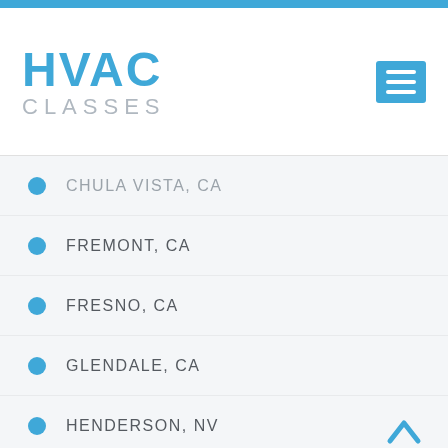[Figure (logo): HVAC Classes logo with blue HVAC text and gray CLASSES text, plus blue hamburger menu icon]
CHULA VISTA, CA
FREMONT, CA
FRESNO, CA
GLENDALE, CA
HENDERSON, NV
HONOLULU, HI
IRVINE, CA